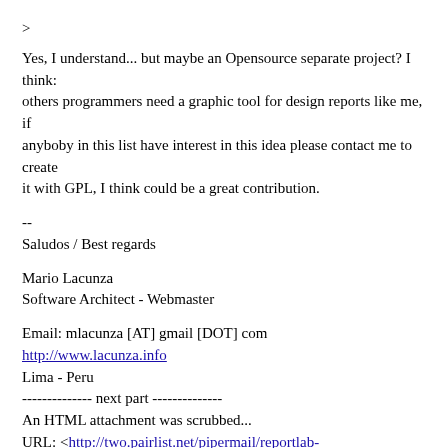>
Yes, I understand... but maybe an Opensource separate project? I think:
others programmers need a graphic tool for design reports like me, if
anyboby in this list have interest in this idea please contact me to create
it with GPL, I think could be a great contribution.
--
Saludos / Best regards
Mario Lacunza
Software Architect - Webmaster
Email: mlacunza [AT] gmail [DOT] com
http://www.lacunza.info
Lima - Peru
-------------- next part --------------
An HTML attachment was scrubbed...
URL: <http://two.pairlist.net/pipermail/reportlab-users/attachments/20081114/26b3f401/attachment.html>